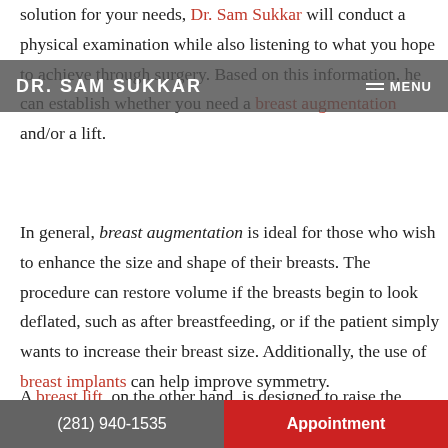solution for your needs, Dr. Sam Sukkar will conduct a physical examination while also listening to what you hope to achieve through surgery. Based on this information, he can establish whether you need a breast augmentation and/or a lift.
DR. SAM SUKKAR   MENU
In general, breast augmentation is ideal for those who wish to enhance the size and shape of their breasts. The procedure can restore volume if the breasts begin to look deflated, such as after breastfeeding, or if the patient simply wants to increase their breast size. Additionally, the use of breast implants can help improve symmetry.
A breast lift, on the other hand, is designed to raise the
(281) 940-1535   Appointment